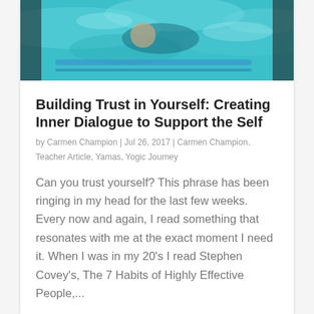[Figure (photo): Underwater photo of a swimmer in a pool with blue/teal water]
Building Trust in Yourself: Creating Inner Dialogue to Support the Self
by Carmen Champion | Jul 26, 2017 | Carmen Champion, Teacher Article, Yamas, Yogic Journey
Can you trust yourself? This phrase has been ringing in my head for the last few weeks. Every now and again, I read something that resonates with me at the exact moment I need it. When I was in my 20’s I read Stephen Covey’s, The 7 Habits of Highly Effective People,...